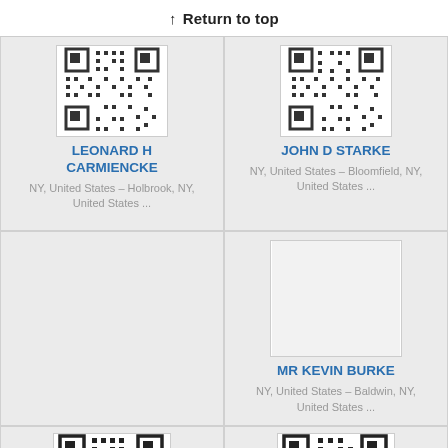↑ Return to top
[Figure (other): QR code for Leonard H Carmiencke (partially cropped at top)]
LEONARD H CARMIENCKE
NY, United States – Holbrook, NY, United States ...
[Figure (other): QR code for John D Starke (partially cropped at top)]
JOHN D STARKE
NY, United States – Bloomfield, NY, United States ...
[Figure (other): Empty white placeholder image for Mr Kevin Burke]
MR KEVIN BURKE
NY, United States – Baldwin, NY, United States ...
[Figure (other): QR code at bottom left (partially cropped)]
[Figure (other): QR code at bottom right (partially cropped)]